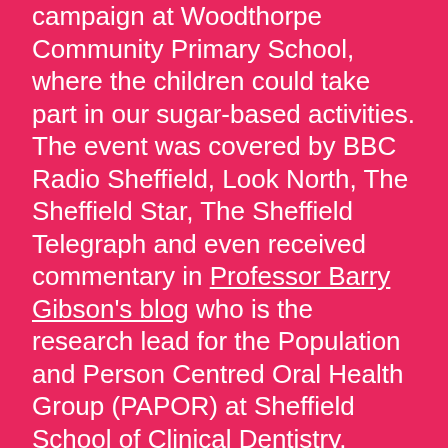campaign at Woodthorpe Community Primary School, where the children could take part in our sugar-based activities. The event was covered by BBC Radio Sheffield, Look North, The Sheffield Star, The Sheffield Telegraph and even received commentary in Professor Barry Gibson's blog who is the research lead for the Population and Person Centred Oral Health Group (PAPOR) at Sheffield School of Clinical Dentistry.
The campaign is in its first phase, but initial feedback has been very encouraging and we are recruiting new followers on Facebook and Instagram daily.
Take a look at the website: www.sheffieldiss